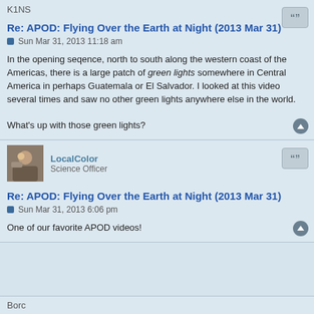K1NS
Re: APOD: Flying Over the Earth at Night (2013 Mar 31)
Sun Mar 31, 2013 11:18 am
In the opening seqence, north to south along the western coast of the Americas, there is a large patch of green lights somewhere in Central America in perhaps Guatemala or El Salvador. I looked at this video several times and saw no other green lights anywhere else in the world.

What's up with those green lights?
LocalColor
Science Officer
Re: APOD: Flying Over the Earth at Night (2013 Mar 31)
Sun Mar 31, 2013 6:06 pm
One of our favorite APOD videos!
Borc